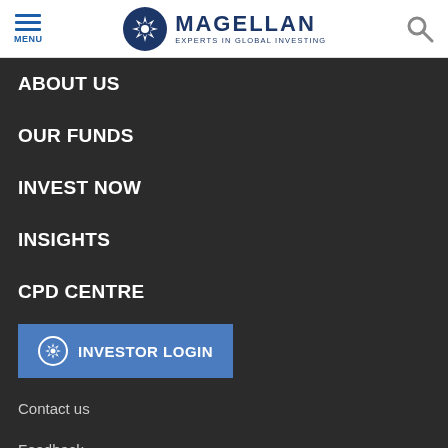[Figure (logo): Magellan Financial Group logo with star compass icon and tagline 'Experts in Global Investing']
ABOUT US
OUR FUNDS
INVEST NOW
INSIGHTS
CPD CENTRE
INVESTOR LOGIN
Contact us
Feedback
Shareholder centre
Institutions & consultants
Airlie ↗